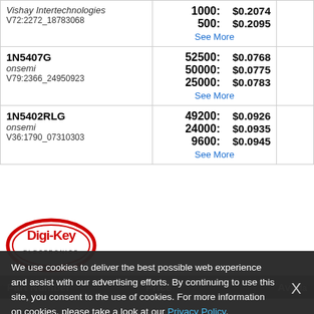| Part Number | Price | Avail. |
| --- | --- | --- |
| Vishay Intertechnologies
V72:2272_18783068 | 1000: $0.2074
500: $0.2095
See More |  |
| 1N5407G
onsemi
V79:2366_24950923 | 52500: $0.0768
50000: $0.0775
25000: $0.0783
See More |  |
| 1N5402RLG
onsemi
V36:1790_07310303 | 49200: $0.0926
24000: $0.0935
9600: $0.0945
See More |  |
View
[Figure (logo): Digi-Key Electronics logo — red oval with Digi-Key wordmark in red/white on white background]
| Part Number | Price | Avail. |
| --- | --- | --- |
We use cookies to deliver the best possible web experience and assist with our advertising efforts. By continuing to use this site, you consent to the use of cookies. For more information on cookies, please take a look at our Privacy Policy.